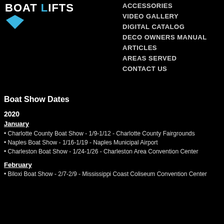[Figure (logo): Boat Lifts logo with blue diamond/arrow shape below text]
ACCESSORIES
VIDEO GALLERY
DIGITAL CATALOG
DECO OWNERS MANUAL
ARTICLES
AREAS SERVED
CONTACT US
Boat Show Dates
2020
January
Charlotte County Boat Show - 1/9-1/12 - Charlotte County Fairgrounds
Naples Boat Show - 1/16-1/19 - Naples Municipal Airport
Charleston Boat Show - 1/24-1/26 - Charleston Area Convention Center
February
Biloxi Boat Show - 2/7-2/9 - Mississippi Coast Coliseum Convention Center